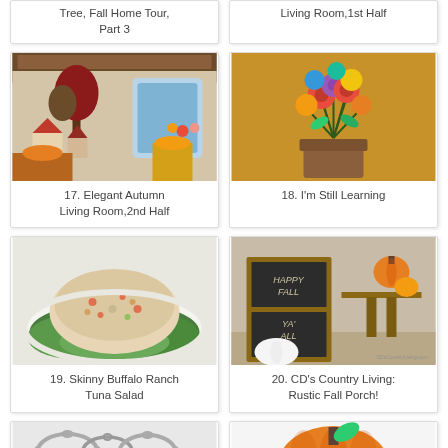Tree, Fall Home Tour, Part 3
Living Room, 1st Half
[Figure (photo): Elegant autumn living room display with decorative trees and village scene]
17. Elegant Autumn Living Room,2nd Half
[Figure (photo): Colorful flower bouquet with gerbera daisies and mixed flowers]
18. I'm Still Learning
[Figure (photo): Skinny buffalo ranch tuna salad on lettuce leaves]
19. Skinny Buffalo Ranch Tuna Salad
[Figure (photo): Rustic fall porch with chalkboard Happy Fall Ya'll sign and pumpkins]
20. CD's Country Living: Rustic Fall Porch!
[Figure (photo): Silver chain necklaces laid out]
[Figure (photo): Orange pumpkin craft decoration with green stem and face]